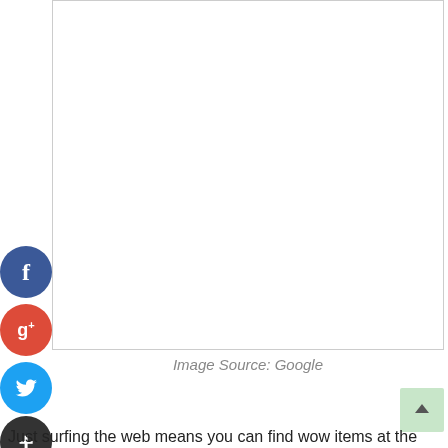[Figure (photo): Large white rectangular image placeholder with a thin grey border, occupying most of the upper portion of the page.]
[Figure (illustration): Four social media circular icon buttons stacked vertically on the left side: Facebook (blue), Google+ (red), Twitter (blue bird), and a plus/add button (dark grey).]
Image Source: Google
[Figure (illustration): Light green scroll-to-top arrow button in the lower right corner.]
Just surfing the web means you can find wow items at the